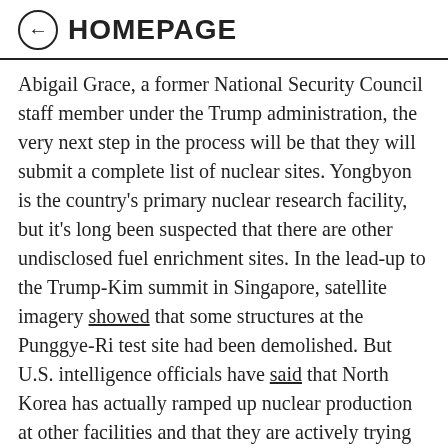← HOMEPAGE
Abigail Grace, a former National Security Council staff member under the Trump administration, the very next step in the process will be that they will submit a complete list of nuclear sites. Yongbyon is the country's primary nuclear research facility, but it's long been suspected that there are other undisclosed fuel enrichment sites. In the lead-up to the Trump-Kim summit in Singapore, satellite imagery showed that some structures at the Punggye-Ri test site had been demolished. But U.S. intelligence officials have said that North Korea has actually ramped up nuclear production at other facilities and that they are actively trying to conceal those locations.
Conversely, submitting an incomplete list would be the first of several telltale signs that the communist country has no intention to pursue denuclearization, said Grace